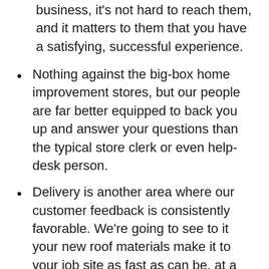business, it's not hard to reach them, and it matters to them that you have a satisfying, successful experience.
Nothing against the big-box home improvement stores, but our people are far better equipped to back you up and answer your questions than the typical store clerk or even help-desk person.
Delivery is another area where our customer feedback is consistently favorable. We're going to see to it your new roof materials make it to your job site as fast as can be, at a reasonable rate. You can have a look at our shipping policies here. And by the way – if you're ordering metal panel roofing for a project within Washington State, and your order